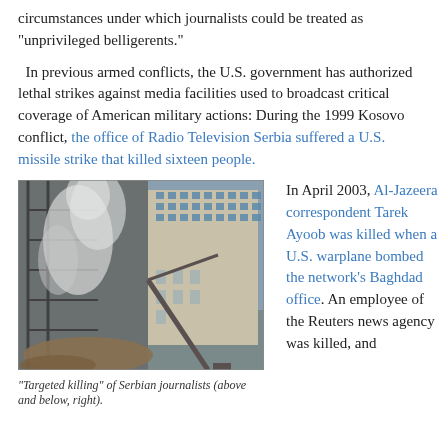circumstances under which journalists could be treated as "unprivileged belligerents."
In previous armed conflicts, the U.S. government has authorized lethal strikes against media facilities used to broadcast critical coverage of American military actions: During the 1999 Kosovo conflict, the office of Radio Television Serbia suffered a U.S. missile strike that killed sixteen people.
[Figure (photo): Photo of destroyed building with smoke rising, rubble and crane visible. Depicts aftermath of missile strike on Radio Television Serbia building.]
"Targeted killing" of Serbian journalists (above and below, right).
In April 2003, Al-Jazeera correspondent Tarek Ayoob was killed when a U.S. warplane bombed the network's Baghdad office. An employee of the Reuters news agency was killed, and